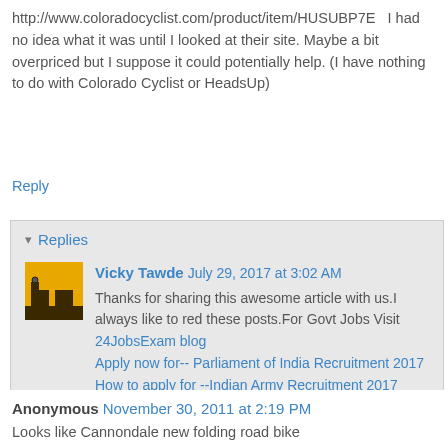http://www.coloradocyclist.com/product/item/HUSUBP7E  I had no idea what it was until I looked at their site. Maybe a bit overpriced but I suppose it could potentially help. (I have nothing to do with Colorado Cyclist or HeadsUp)
Reply
▾ Replies
Vicky Tawde  July 29, 2017 at 3:02 AM
Thanks for sharing this awesome article with us.I always like to red these posts.For Govt Jobs Visit
24JobsExam blog
Apply now for-- Parliament of India Recruitment 2017
How to apply for --Indian Army Recruitment 2017
Reply
Anonymous  November 30, 2011 at 2:19 PM
Looks like Cannondale new folding road bike